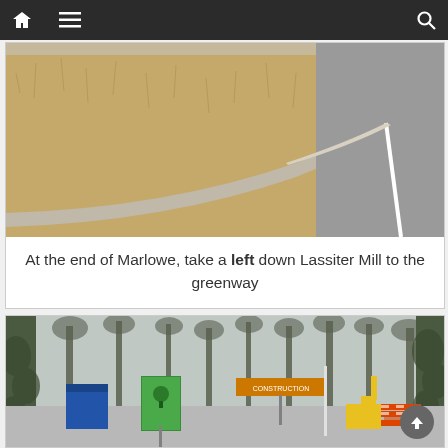[Figure (screenshot): Navigation bar with home icon, hamburger menu, and search icon on dark background]
[Figure (photo): Street-level photo showing a grassy median/curb area with dry brown winter grass meeting a concrete curb and asphalt road with a white line marking]
At the end of Marlowe, take a left down Lassiter Mill to the greenway
[Figure (photo): Construction site photo showing trees with ivy, a greenway entrance sign (green with tree logo), an orange 'CONSTRUCTION' sign, a blue dumpster, a yellow excavator, and orange construction barriers]